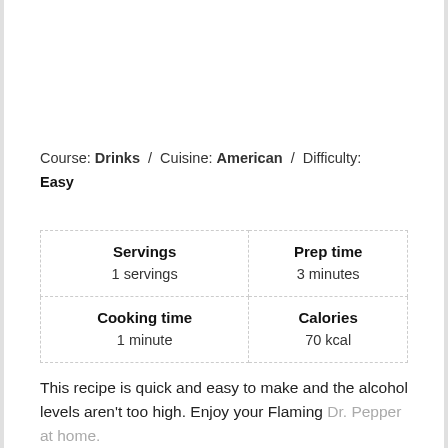Course: Drinks / Cuisine: American / Difficulty: Easy
| Servings
1 servings | Prep time
3 minutes |
| Cooking time
1 minute | Calories
70 kcal |
This recipe is quick and easy to make and the alcohol levels aren't too high. Enjoy your Flaming Dr. Pepper at home.